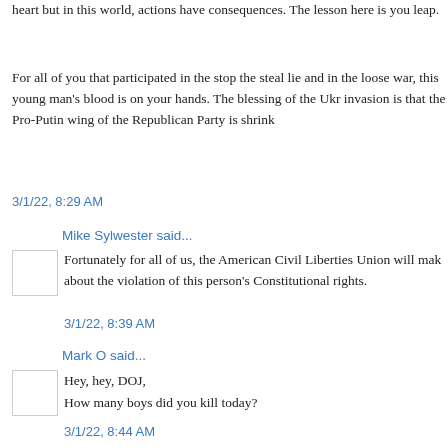heart but in this world, actions have consequences. The lesson here is you leap.
For all of you that participated in the stop the steal lie and in the loose war, this young man's blood is on your hands. The blessing of the Ukr invasion is that the Pro-Putin wing of the Republican Party is shrink
3/1/22, 8:29 AM
Mike Sylwester said...
Fortunately for all of us, the American Civil Liberties Union will mak about the violation of this person's Constitutional rights.
3/1/22, 8:39 AM
Mark O said...
Hey, hey, DOJ,
How many boys did you kill today?
3/1/22, 8:44 AM